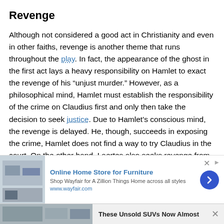Revenge
Although not considered a good act in Christianity and even in other faiths, revenge is another theme that runs throughout the play. In fact, the appearance of the ghost in the first act lays a heavy responsibility on Hamlet to exact the revenge of his “unjust murder.” However, as a philosophical mind, Hamlet must establish the responsibility of the crime on Claudius first and only then take the decision to seek justice. Due to Hamlet’s conscious mind, the revenge is delayed. He, though, succeeds in exposing the crime, Hamlet does not find a way to try Claudius in the court. On the other hand, Laertes also seeks revenge from
[Figure (screenshot): Advertisement banner: Online Home Store for Furniture - Shop Wayfair for A Zillion Things Home across all styles. www.wayfair.com. Blue arrow button on right. Close button top right.]
[Figure (screenshot): Partial bottom bar showing 'These Unsold SUVs Now Almost' text with an image on the left and X close button on right.]